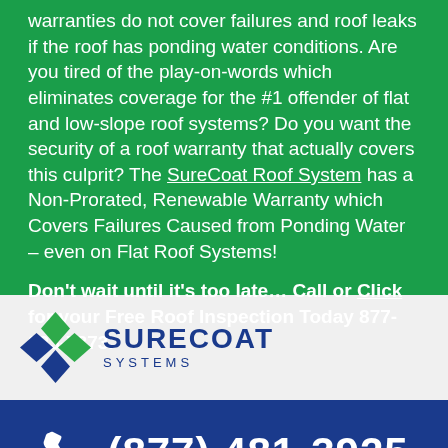warranties do not cover failures and roof leaks if the roof has ponding water conditions. Are you tired of the play-on-words which eliminates coverage for the #1 offender of flat and low-slope roof systems? Do you want the security of a roof warranty that actually covers this culprit? The SureCoat Roof System has a Non-Prorated, Renewable Warranty which Covers Failures Caused from Ponding Water – even on Flat Roof Systems!
Don't wait until it's too late… Call or Click for your Free Roof Inspection Today 877-823-7873.
[Figure (logo): SureCoat Systems logo with diamond-shaped icon in blue and green]
(877) 481-3925